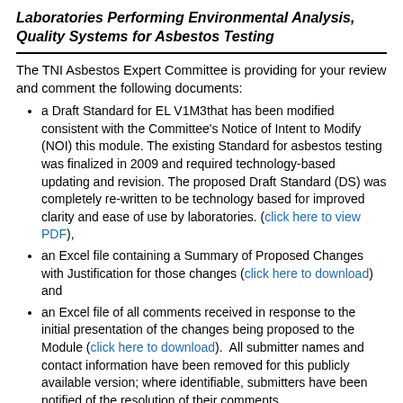Laboratories Performing Environmental Analysis, Quality Systems for Asbestos Testing
The TNI Asbestos Expert Committee is providing for your review and comment the following documents:
a Draft Standard for EL V1M3that has been modified consistent with the Committee's Notice of Intent to Modify (NOI) this module. The existing Standard for asbestos testing was finalized in 2009 and required technology-based updating and revision. The proposed Draft Standard (DS) was completely re-written to be technology based for improved clarity and ease of use by laboratories. (click here to view PDF),
an Excel file containing a Summary of Proposed Changes with Justification for those changes (click here to download) and
an Excel file of all comments received in response to the initial presentation of the changes being proposed to the Module (click here to download). All submitter names and contact information have been removed for this publicly available version; where identifiable, submitters have been notified of the resolution of their comments.
The comment period will be open for ninety (90) calendar days, in accordance with recent revisions to the Consensus Standards Development SOP 2-100, located at